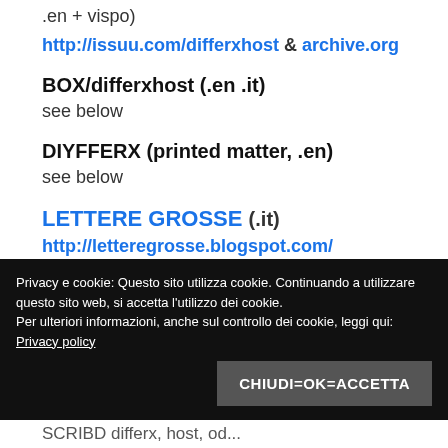.en + vispo)
http://issuu.com/differxhost & archive.org
BOX/differxhost (.en .it)
see below
DIYFFERX (printed matter, .en)
see below
LETTERE GROSSE (.it)
http://letteregrosse.blogspot.com/
http://issuu.com/letteregrosse
Privacy e cookie: Questo sito utilizza cookie. Continuando a utilizzare questo sito web, si accetta l'utilizzo dei cookie.
Per ulteriori informazioni, anche sul controllo dei cookie, leggi qui: Privacy policy
SCRIBD differx, host, od...